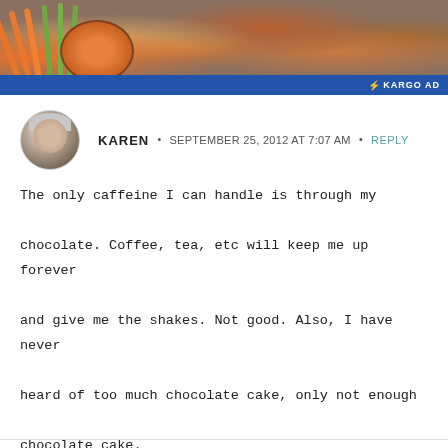[Figure (photo): Food advertisement banner showing carrot sticks, celery, dips, and fried chicken wings on a platter, with a blue Kargo Ad bar at the bottom]
KAREN • SEPTEMBER 25, 2012 AT 7:07 AM • REPLY
The only caffeine I can handle is through my chocolate. Coffee, tea, etc will keep me up forever and give me the shakes. Not good. Also, I have never heard of too much chocolate cake, only not enough chocolate cake.
And brown rice is perfect for stuffed peppers :)